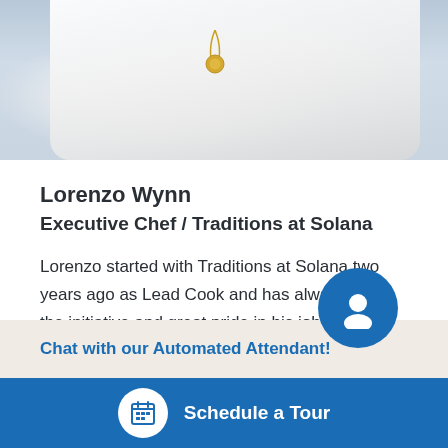[Figure (photo): Photo of Lorenzo Wynn, Executive Chef, wearing a white chef coat with a gold necklace medallion]
Lorenzo Wynn
Executive Chef / Traditions at Solana
Lorenzo started with Traditions at Solana two years ago as Lead Cook and has always taken the initiative and great pride in his job. He was promoted to Executive Chef at Sol…
Chat with our Automated Attendant!
Schedule a Tour